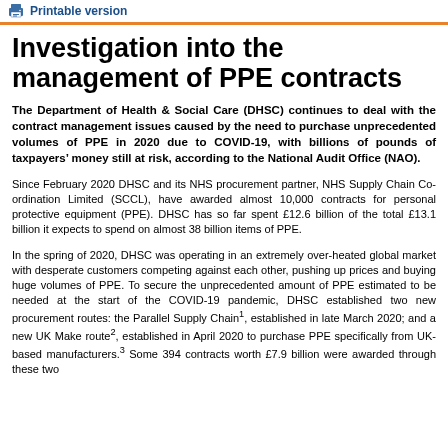Printable version
Investigation into the management of PPE contracts
The Department of Health & Social Care (DHSC) continues to deal with the contract management issues caused by the need to purchase unprecedented volumes of PPE in 2020 due to COVID-19, with billions of pounds of taxpayers' money still at risk, according to the National Audit Office (NAO).
Since February 2020 DHSC and its NHS procurement partner, NHS Supply Chain Co-ordination Limited (SCCL), have awarded almost 10,000 contracts for personal protective equipment (PPE). DHSC has so far spent £12.6 billion of the total £13.1 billion it expects to spend on almost 38 billion items of PPE.
In the spring of 2020, DHSC was operating in an extremely over-heated global market with desperate customers competing against each other, pushing up prices and buying huge volumes of PPE. To secure the unprecedented amount of PPE estimated to be needed at the start of the COVID-19 pandemic, DHSC established two new procurement routes: the Parallel Supply Chain1, established in late March 2020; and a new UK Make route2, established in April 2020 to purchase PPE specifically from UK-based manufacturers.3 Some 394 contracts worth £7.9 billion were awarded through these two